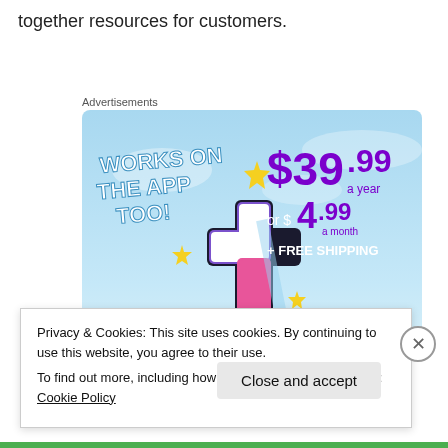together resources for customers.
Advertisements
[Figure (illustration): Tumblr advertisement banner with sky blue background. Text reads 'WORKS ON THE APP TOO!' on the left in white bold font. Large purple/pink stylized letter 't' (Tumblr logo) in center with yellow sparkle stars. Right side shows pricing: '$39.99 a year or $4.99 a month + FREE SHIPPING' in purple and white text.]
Privacy & Cookies: This site uses cookies. By continuing to use this website, you agree to their use.
To find out more, including how to control cookies, see here: Cookie Policy